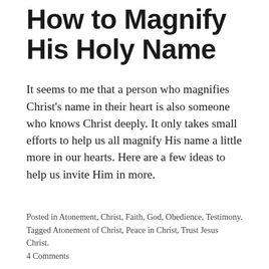How to Magnify His Holy Name
It seems to me that a person who magnifies Christ’s name in their heart is also someone who knows Christ deeply. It only takes small efforts to help us all magnify His name a little more in our hearts. Here are a few ideas to help us invite Him in more.
Posted in Atonement, Christ, Faith, God, Obedience, Testimony. Tagged Atonement of Christ, Peace in Christ, Trust Jesus Christ.
4 Comments